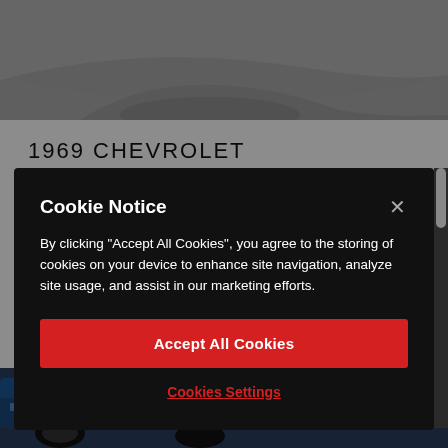[Figure (photo): Top portion of a car (likely Corvette wheel/body detail) in grayscale]
1969 CHEVROLET CORVETTE
Cookie Notice
By clicking "Accept All Cookies", you agree to the storing of cookies on your device to enhance site navigation, analyze site usage, and assist in our marketing efforts.
Accept All Cookies
Cookies Settings
[Figure (photo): Partial view of a blue Corvette at the bottom of the page]